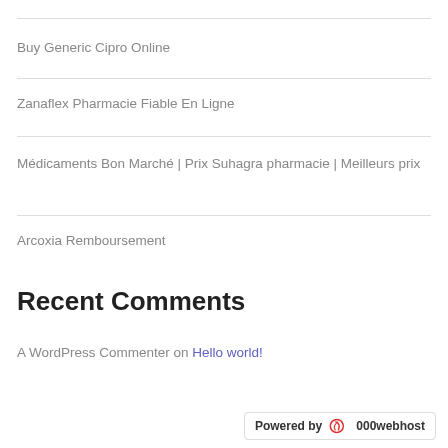Buy Generic Cipro Online
Zanaflex Pharmacie Fiable En Ligne
Médicaments Bon Marché | Prix Suhagra pharmacie | Meilleurs prix
Arcoxia Remboursement
Recent Comments
A WordPress Commenter on Hello world!
Powered by 000webhost